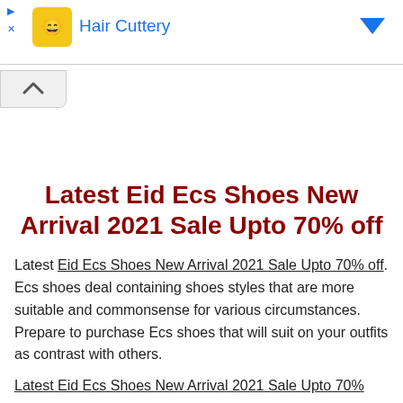[Figure (screenshot): Advertisement banner for Hair Cuttery with logo, title in blue, play and close icons, and a blue arrow icon on the right]
[Figure (other): Collapse/chevron up button below the ad banner]
Latest Eid Ecs Shoes New Arrival 2021 Sale Upto 70% off
Latest Eid Ecs Shoes New Arrival 2021 Sale Upto 70% off. Ecs shoes deal containing shoes styles that are more suitable and commonsense for various circumstances. Prepare to purchase Ecs shoes that will suit on your outfits as contrast with others.
Latest Eid Ecs Shoes New Arrival 2021 Sale Upto 70%